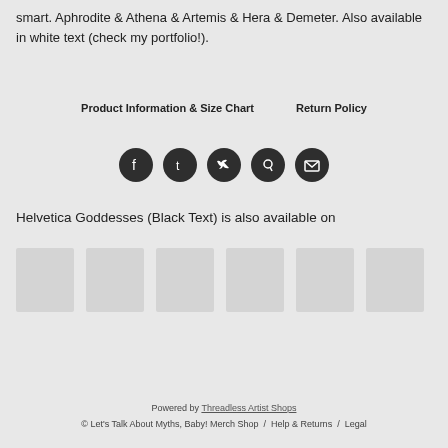smart. Aphrodite & Athena & Artemis & Hera & Demeter. Also available in white text (check my portfolio!).
Product Information & Size Chart    Return Policy
[Figure (other): Row of 5 social media icons (Facebook, Tumblr, Twitter, Pinterest, Email) as dark circular buttons]
Helvetica Goddesses (Black Text) is also available on
[Figure (other): Row of 6 product thumbnail placeholder images (light grey rectangles)]
Powered by Threadless Artist Shops
© Let's Talk About Myths, Baby! Merch Shop  /  Help & Returns  /  Legal